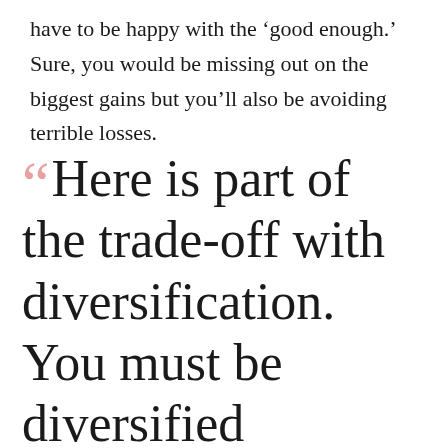have to be happy with the 'good enough.' Sure, you would be missing out on the biggest gains but you'll also be avoiding terrible losses.
“Here is part of the trade-off with diversification. You must be diversified